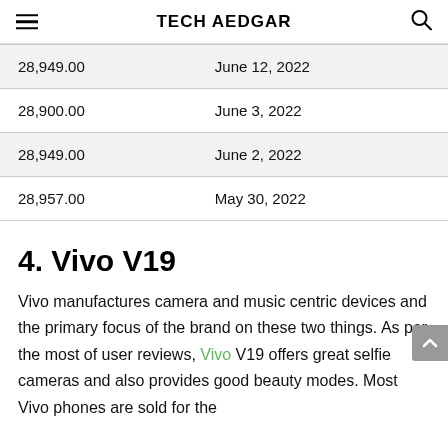TECH AEDGAR
| 28,949.00 | June 12, 2022 |
| 28,900.00 | June 3, 2022 |
| 28,949.00 | June 2, 2022 |
| 28,957.00 | May 30, 2022 |
4. Vivo V19
Vivo manufactures camera and music centric devices and the primary focus of the brand on these two things. As per the most of user reviews, Vivo V19 offers great selfie cameras and also provides good beauty modes. Most Vivo phones are sold for the